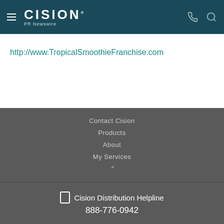CISION PR Newswire
http://www.TropicalSmoothieFranchise.com
Contact Cision
Products
About
My Services
Cision Distribution Helpline
888-776-0942
Terms of Use | Privacy Policy | Information Security Policy | Site Map | RSS | Cookie Settings
Copyright © 2022 Cision US Inc.